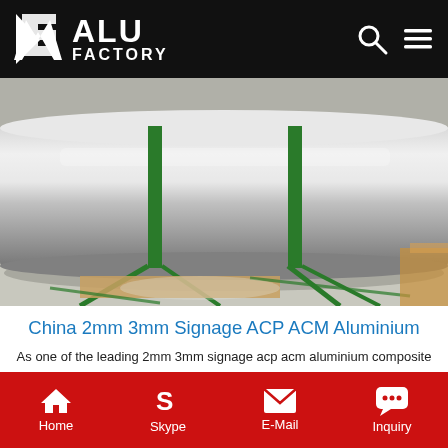ALU FACTORY
[Figure (photo): A large roll of aluminum composite panel / sheet material on a factory floor, with green strapping bands around it. The roll is metallic silver, lying on its side on a concrete floor with cardboard beneath it.]
China 2mm 3mm Signage ACP ACM Aluminium
As one of the leading 2mm 3mm signage acp acm aluminium composite panel advertising panel manufacturers and suppliers in China, we warmly welcome you to buy or wholesale high quality 2mm 3mm signage acp acm aluminium composite panel advertising panel from our factory. Good service and competitive price are available. Contact us for pricelist.
Get Price
Home  Skype  E-Mail  Inquiry